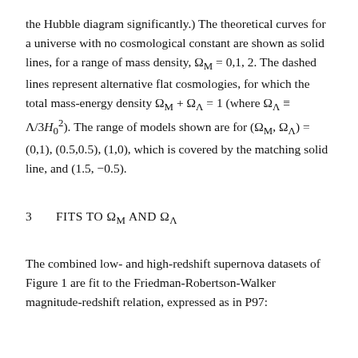the Hubble diagram significantly.) The theoretical curves for a universe with no cosmological constant are shown as solid lines, for a range of mass density, Ω_M = 0,1,2. The dashed lines represent alternative flat cosmologies, for which the total mass-energy density Ω_M + Ω_Λ = 1 (where Ω_Λ ≡ Λ/3H₀²). The range of models shown are for (Ω_M, Ω_Λ) = (0,1), (0.5,0.5), (1,0), which is covered by the matching solid line, and (1.5, −0.5).
3   FITS TO Ω_M AND Ω_Λ
The combined low- and high-redshift supernova datasets of Figure 1 are fit to the Friedman-Robertson-Walker magnitude-redshift relation, expressed as in P97: